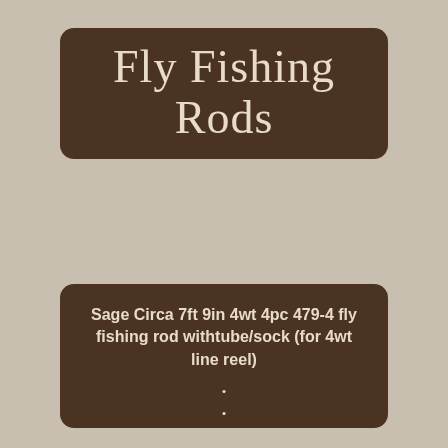Fly Fishing Rods
Sage Circa 7ft 9in 4wt 4pc 479-4 fly fishing rod withtube/sock (for 4wt line reel)
Incredibly light and nimble and possessing surprising recovery and zip, this rod excels fishing dries yet, being a 4-weight, is delightful fishing nymphs and zinging little